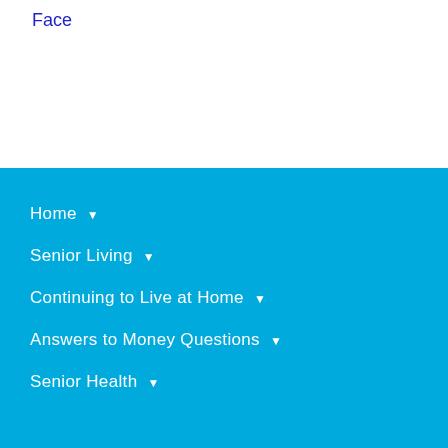Face
Home
Senior Living
Continuing to Live at Home
Answers to Money Questions
Senior Health